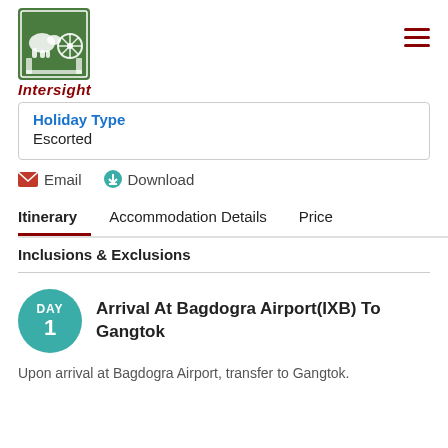Intersight
Holiday Type
Escorted
Email   Download
Itinerary   Accommodation Details   Price
Inclusions & Exclusions
DAY 1 Arrival At Bagdogra Airport(IXB) To Gangtok
Upon arrival at Bagdogra Airport, transfer to Gangtok.